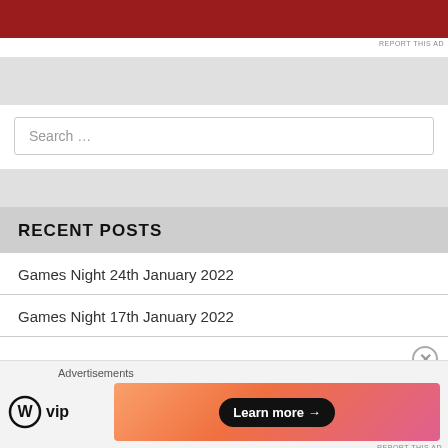[Figure (other): Red advertisement banner at top of page]
REPORT THIS AD
Search …
RECENT POSTS
Games Night 24th January 2022
Games Night 17th January 2022
Advertisements
[Figure (logo): WordPress VIP logo with circle W icon and 'vip' text]
[Figure (other): Colorful gradient advertisement banner with Learn more button]
REPORT THIS AD